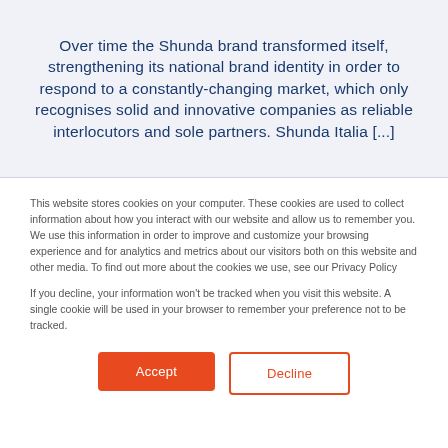Over time the Shunda brand transformed itself, strengthening its national brand identity in order to respond to a constantly-changing market, which only recognises solid and innovative companies as reliable interlocutors and sole partners. Shunda Italia [...]
This website stores cookies on your computer. These cookies are used to collect information about how you interact with our website and allow us to remember you. We use this information in order to improve and customize your browsing experience and for analytics and metrics about our visitors both on this website and other media. To find out more about the cookies we use, see our Privacy Policy
If you decline, your information won't be tracked when you visit this website. A single cookie will be used in your browser to remember your preference not to be tracked.
Accept
Decline